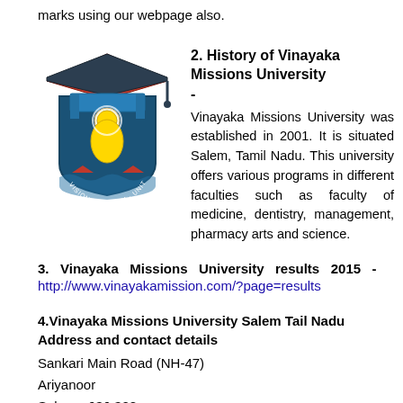marks using our webpage also.
2. History of Vinayaka Missions University -
[Figure (logo): Vinayaka Missions University logo/crest showing a shield with a figure, graduation cap, and text 'VISION WISDOM UNITY']
Vinayaka Missions University was established in 2001. It is situated Salem, Tamil Nadu. This university offers various programs in different faculties such as faculty of medicine, dentistry, management, pharmacy arts and science.
3. Vinayaka Missions University results 2015 - http://www.vinayakamission.com/?page=results
4.Vinayaka Missions University Salem Tail Nadu Address and contact details
Sankari Main Road (NH-47)
Ariyanoor
Salem - 636 308
Tamil Nadu
India